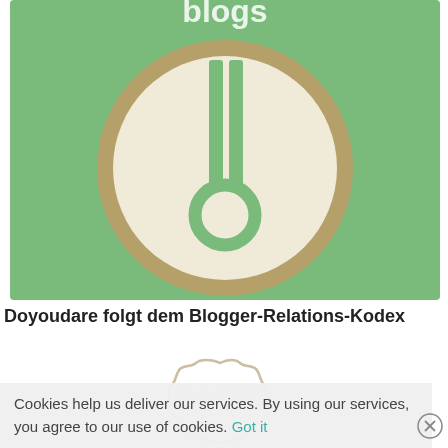[Figure (logo): Green square badge with a medal/award icon: a large beige circle with a tan/gold thick border, containing two vertical green ribbon-like stripes at the top and a green circle ring at the bottom. Partial cropped white text at the top reading 'blogs'.]
Doyoudare folgt dem Blogger-Relations-Kodex
[Figure (logo): Partial view of a second badge with a wavy/scalloped circular outline border (cream/beige color), with faint text reading 'BLOGGER RELATIONS' inside.]
Cookies help us deliver our services. By using our services, you agree to our use of cookies. Got it